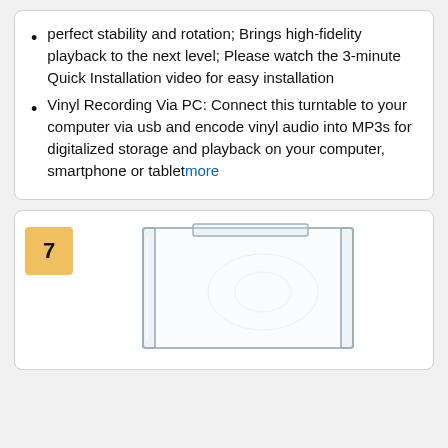perfect stability and rotation; Brings high-fidelity playback to the next level; Please watch the 3-minute Quick Installation video for easy installation
Vinyl Recording Via PC: Connect this turntable to your computer via usb and encode vinyl audio into MP3s for digitalized storage and playback on your computer, smartphone or tablet more
[Figure (photo): Product image showing item number 7 badge and a clear/transparent rectangular container or cover, likely a dust cover for a turntable]